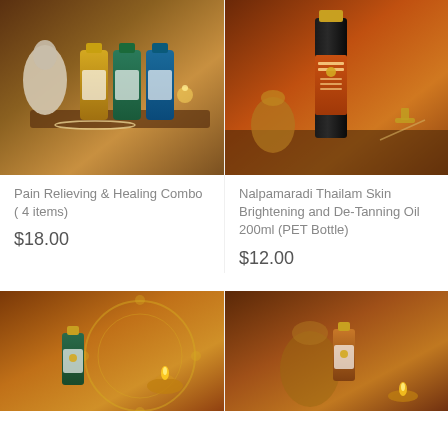[Figure (photo): Product photo of Pain Relieving & Healing Combo with 4 oil bottles (yellow, green, teal) arranged on a wooden tray with a massage pouch and beads, candlelit warm background]
[Figure (photo): Product photo of Nalpamaradi Thailam Skin Brightening and De-Tanning Oil 200ml PET Bottle standing tall on a wooden surface with brass vessels, warm amber background]
Pain Relieving & Healing Combo ( 4 items)
Nalpamaradi Thailam Skin Brightening and De-Tanning Oil 200ml (PET Bottle)
$18.00
$12.00
[Figure (photo): Product photo of a small green bottle with gold cap on a decorative gear/mandala background with a lit oil lamp, warm amber tones]
[Figure (photo): Product photo of a small amber bottle with gold cap next to brass vessels and a lit candle, warm dark amber background]